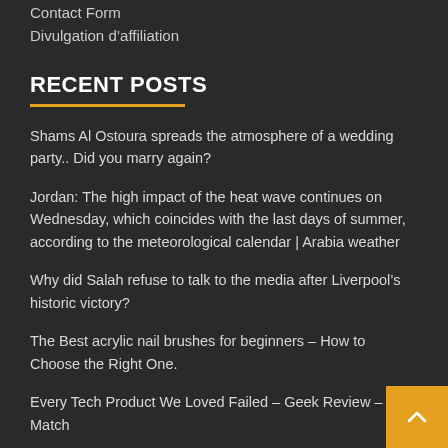Contact Form
Divulgation d’affiliation
RECENT POSTS
Shams Al Ostoura spreads the atmosphere of a wedding party.. Did you marry again?
Jordan: The high impact of the heat wave continues on Wednesday, which coincides with the last days of summer, according to the meteorological calendar | Arabia weather
Why did Salah refuse to talk to the media after Liverpool’s historic victory?
The Best acrylic nail brushes for beginners – How to Choose the Right One.
Every Tech Product We Loved Failed – Geek Review – Yalla Match